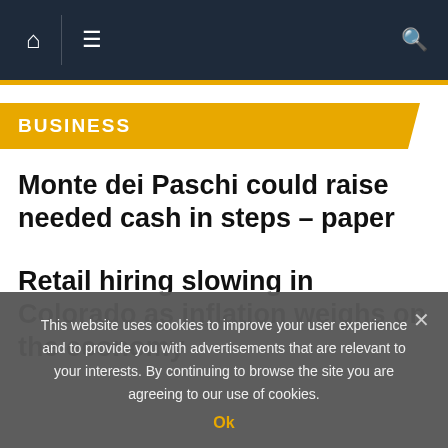Navigation bar with home, menu, and search icons
BUSINESS
Monte dei Paschi could raise needed cash in steps – paper
Retail hiring slowing in Colorado as inflation weighs on the economy
This website uses cookies to improve your user experience and to provide you with advertisements that are relevant to your interests. By continuing to browse the site you are agreeing to our use of cookies.
Ok